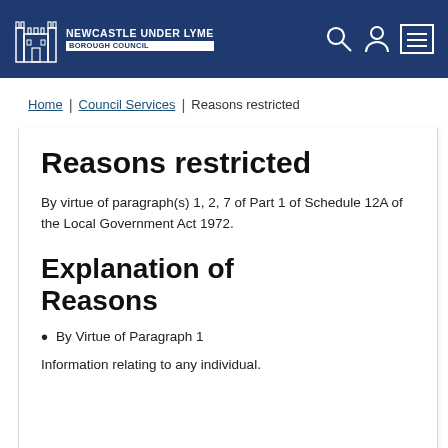Newcastle under Lyme Borough Council
Home | Council Services | Reasons restricted
Reasons restricted
By virtue of paragraph(s) 1, 2, 7 of Part 1 of Schedule 12A of the Local Government Act 1972.
Explanation of Reasons
By Virtue of Paragraph 1
Information relating to any individual.